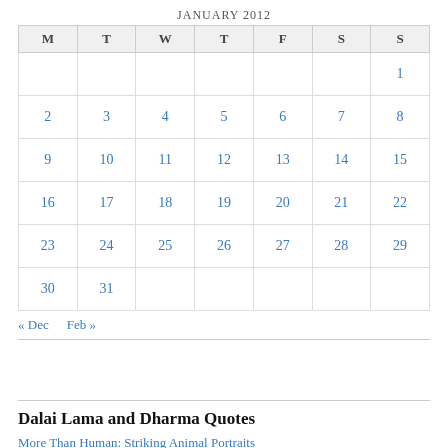| M | T | W | T | F | S | S |
| --- | --- | --- | --- | --- | --- | --- |
|  |  |  |  |  |  | 1 |
| 2 | 3 | 4 | 5 | 6 | 7 | 8 |
| 9 | 10 | 11 | 12 | 13 | 14 | 15 |
| 16 | 17 | 18 | 19 | 20 | 21 | 22 |
| 23 | 24 | 25 | 26 | 27 | 28 | 29 |
| 30 | 31 |  |  |  |  |  |
« Dec   Feb »
Dalai Lama and Dharma Quotes
More Than Human: Striking Animal Portraits
InnerNet Weekly: Always Had It, Always Will